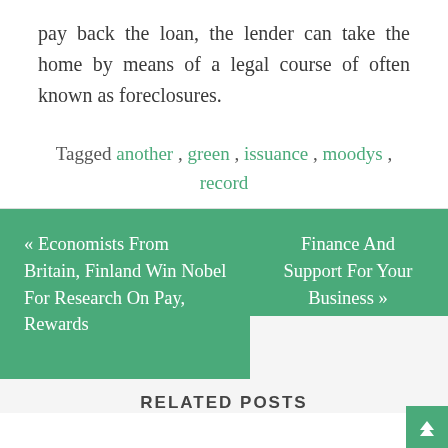pay back the loan, the lender can take the home by means of a legal course of often known as foreclosures.
Tagged another, green, issuance, moodys, record
« Economists From Britain, Finland Win Nobel For Research On Pay, Rewards
Finance And Support For Your Business »
RELATED POSTS